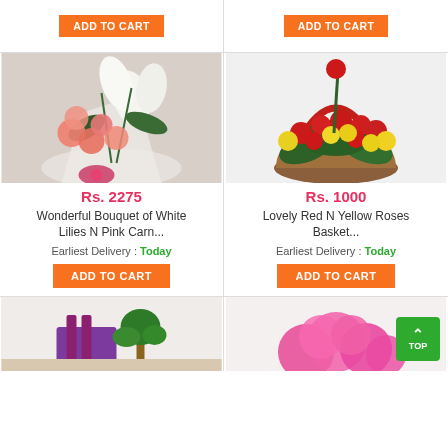[Figure (photo): Partial top row with ADD TO CART buttons from previous product cards]
ADD TO CART
ADD TO CART
[Figure (photo): Bouquet of white lilies and pink carnations wrapped in white paper]
Rs. 2275
Wonderful Bouquet of White Lilies N Pink Carn...
Earliest Delivery : Today
ADD TO CART
[Figure (photo): Basket arrangement of red and yellow roses with tall red roses in center]
Rs. 1000
Lovely Red N Yellow Roses Basket...
Earliest Delivery : Today
ADD TO CART
[Figure (photo): Partial view of gift set with purple item and green plant]
[Figure (photo): Partial view of pink carnation bouquet]